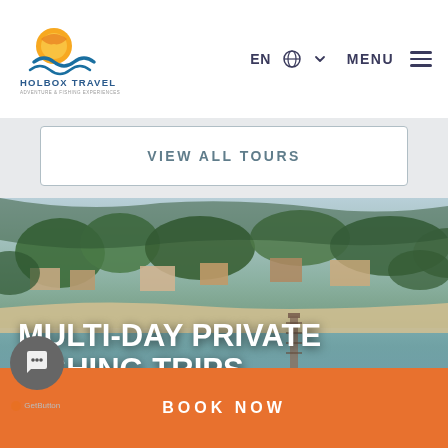[Figure (logo): Holbox Travel logo with sun and waves icon, text HOLBOX TRAVEL below]
EN 🌐 ▾   MENU ≡
VIEW ALL TOURS
[Figure (photo): Aerial coastal view of Holbox island with beach, ocean, and tropical vegetation]
MULTI-DAY PRIVATE FISHING TRIPS
QUICK DETAILS
BOOK NOW